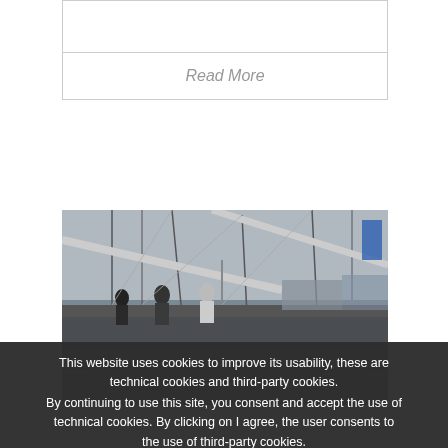Read More
[Figure (photo): Sailing yacht marina with masts and rigging, people on deck in overcast conditions]
This website uses cookies to improve its usability, these are technical cookies and third-party cookies.
By continuing to use this site, you consent and accept the use of technical cookies. By clicking on I agree, the user consents to the use of third-party cookies.
For more information and to change your preferences visit ours POLICY COOKIE.
To remove the banner and accept the use of cookies by EXIT CARBON click on
I ACCEPT ALL COOKIES
or customize your preferences